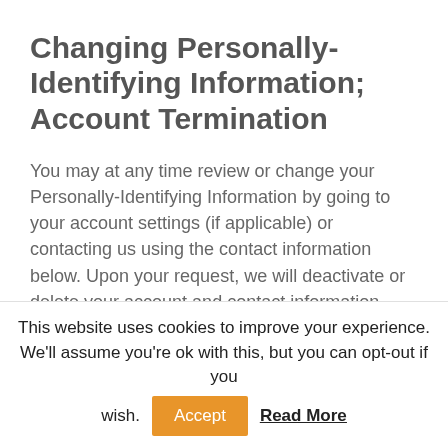Changing Personally-Identifying Information; Account Termination
You may at any time review or change your Personally-Identifying Information by going to your account settings (if applicable) or contacting us using the contact information below.  Upon your request, we will deactivate or delete your account and contact information from our active databases. Such information will be deactivated or
This website uses cookies to improve your experience. We'll assume you're ok with this, but you can opt-out if you wish.